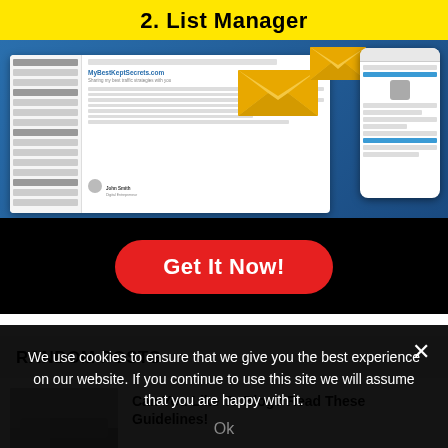2. List Manager
[Figure (screenshot): Screenshot of an email list manager interface showing MyBestKeptSecrets.com website with email mockup, large envelope icons, and mobile phone mockup on blue background]
Get It Now!
RANDOM POSTS
Can You Like To Blog? Read These Guidelines!
We use cookies to ensure that we give you the best experience on our website. If you continue to use this site we will assume that you are happy with it.
Ok